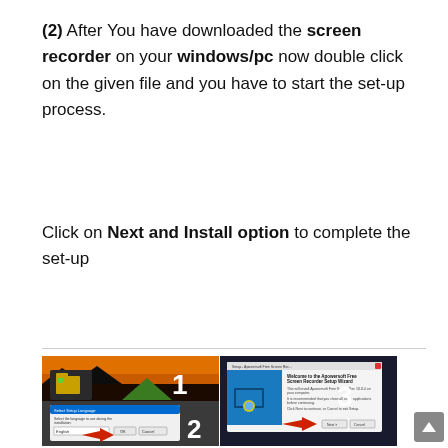(2) After You have downloaded the screen recorder on your windows/pc now double click on the given file and you have to start the set-up process.
Click on Next and Install option to complete the set-up
[Figure (screenshot): Composite screenshot showing 3 steps: (1) free-screen-recorder desktop icon with number 1, (2) language selection dialog with arrow pointing to OK button and number 2, (3) Apowersoft Free Screen Recorder Setup Wizard welcome dialog with arrow pointing to Next button and number 3.]